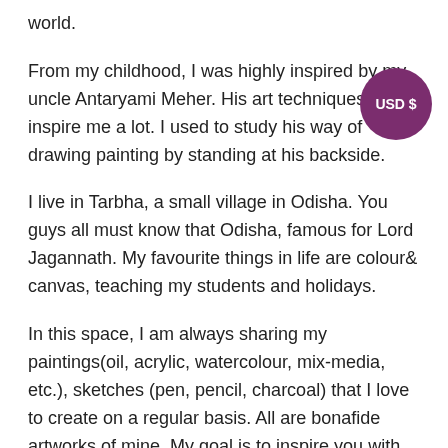world.
[Figure (other): Purple circular badge with white text reading 'USD $']
From my childhood, I was highly inspired by my uncle Antaryami Meher. His art techniques inspire me a lot. I used to study his way of drawing painting by standing at his backside.
I live in Tarbha, a small village in Odisha. You guys all must know that Odisha, famous for Lord Jagannath. My favourite things in life are colour& canvas, teaching my students and holidays.
In this space, I am always sharing my paintings(oil, acrylic, watercolour, mix-media, etc.), sketches (pen, pencil, charcoal) that I love to create on a regular basis. All are bonafide artworks of mine. My goal is to inspire you with my artworks that are both approachable and inspiring.